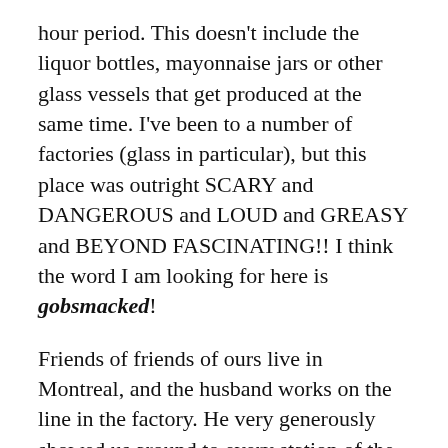hour period. This doesn't include the liquor bottles, mayonnaise jars or other glass vessels that get produced at the same time. I've been to a number of factories (glass in particular), but this place was outright SCARY and DANGEROUS and LOUD and GREASY and BEYOND FASCINATING!! I think the word I am looking for here is gobsmacked!
Friends of friends of ours live in Montreal, and the husband works on the line in the factory. He very generously showed us around to every station of the plant. Truly, this was one of the most incredible experiences I have ever had. I do wish the videos were longer and that I could have taken more footage, but I think that would have broken the rules. What really stuck with me was the level of extreme hazard. I'm talking weaponized molten glass! We have come to